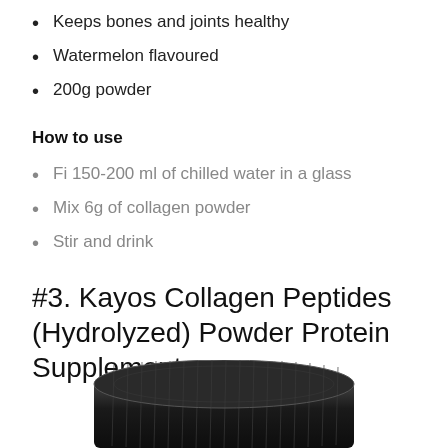Keeps bones and joints healthy
Watermelon flavoured
200g powder
How to use
Fi 150-200 ml of chilled water in a glass
Mix 6g of collagen powder
Stir and drink
#3. Kayos Collagen Peptides (Hydrolyzed) Powder Protein Supplement
[Figure (photo): Black cylindrical jar/container with ridged lid, viewed from above at slight angle]